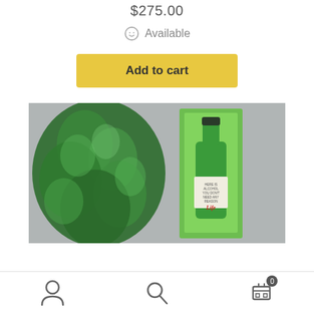$275.00
Available
Add to cart
[Figure (photo): Product photo showing a painting of a green wine bottle with a label reading 'Life', displayed on a wall next to a large green leafy plant.]
Navigation bar with user icon, search icon, and cart icon showing 0 items